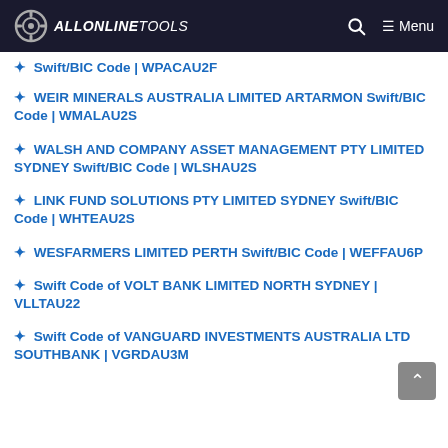ALLONLINETOOLS — Menu
Swift/BIC Code | WPACAU2F
WEIR MINERALS AUSTRALIA LIMITED ARTARMON Swift/BIC Code | WMALAU2S
WALSH AND COMPANY ASSET MANAGEMENT PTY LIMITED SYDNEY Swift/BIC Code | WLSHAU2S
LINK FUND SOLUTIONS PTY LIMITED SYDNEY Swift/BIC Code | WHTEAU2S
WESFARMERS LIMITED PERTH Swift/BIC Code | WEFFAU6P
Swift Code of VOLT BANK LIMITED NORTH SYDNEY | VLLTAU22
Swift Code of VANGUARD INVESTMENTS AUSTRALIA LTD SOUTHBANK | VGRDAU3M